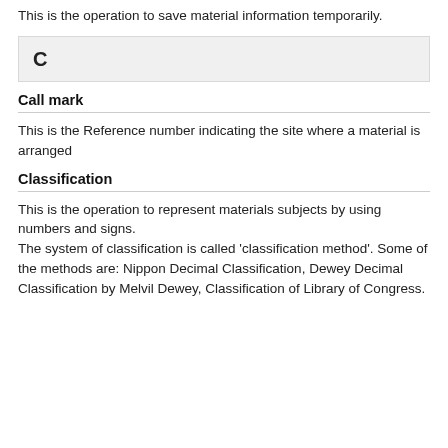This is the operation to save material information temporarily.
C
Call mark
This is the Reference number indicating the site where a material is arranged
Classification
This is the operation to represent materials subjects by using numbers and signs.
The system of classification is called 'classification method'. Some of the methods are: Nippon Decimal Classification, Dewey Decimal Classification by Melvil Dewey, Classification of Library of Congress.